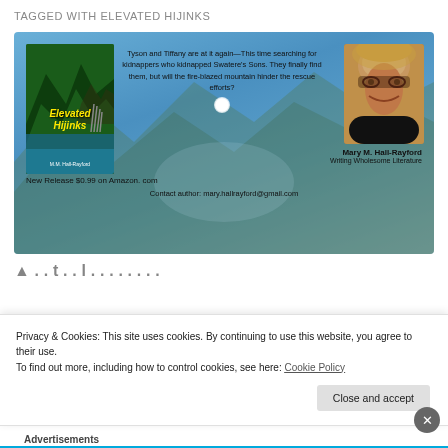TAGGED WITH ELEVATED HIJINKS
[Figure (illustration): Book promotional banner with blue mountain lake background. Shows book cover for 'Elevated Hijinks', blurb text about Tyson and Tiffany searching for kidnappers, author photo of Mary M. Hall-Rayford, author tagline 'Writing Wholesome Literature', new release price '$0.99 on Amazon.com', and contact email 'mary.hallrayford@gmail.com'.]
Privacy & Cookies: This site uses cookies. By continuing to use this website, you agree to their use.
To find out more, including how to control cookies, see here: Cookie Policy
Close and accept
Advertisements